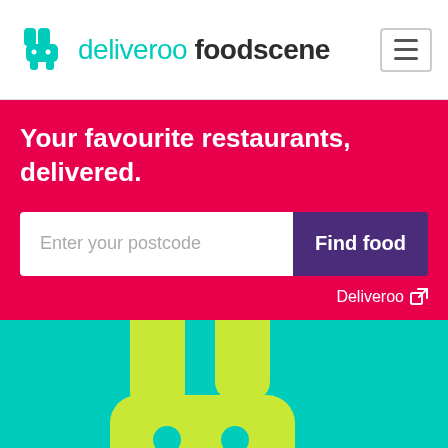deliveroo foodscene
Your favourite restaurants, delivered.
[Figure (screenshot): Search input field with placeholder 'Enter your postcode' and a purple 'Find food' button]
Deliveroo
[Figure (logo): Large Deliveroo kangaroo logo in lime green on teal background]